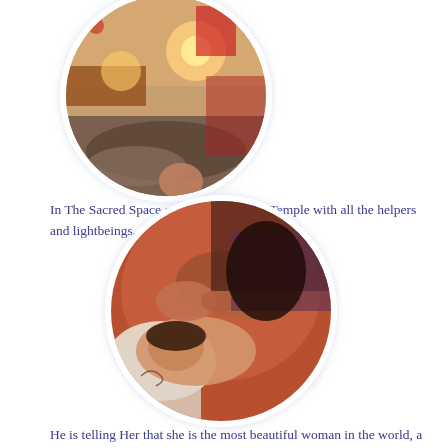[Figure (photo): Circular cropped photo of a dimly lit room with warm candle light, cushions/blankets on the floor, and red decor — appears to be a healing or sacred space setting.]
In The Sacred Space of The White Rose Temple with all the helpers and lightbeings..
[Figure (photo): Circular cropped photo of a close-up healing or massage session — hands working on a person lying down, warm reddish ambient light.]
He is telling Her that she is the most beautiful woman in the world, a